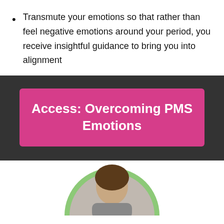Transmute your emotions so that rather than feel negative emotions around your period, you receive insightful guidance to bring you into alignment
Access: Overcoming PMS Emotions
[Figure (photo): Circular cropped photo of a person with brown hair, framed with a green circle border, partially visible at the bottom of the page]